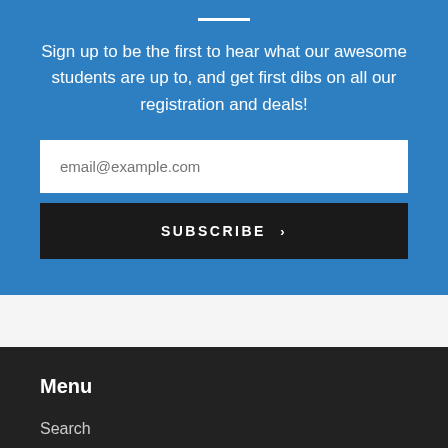Sign up to be the first to hear what our awesome students are up to, and get first dibs on all our registration and deals!
email@example.com
SUBSCRIBE
Menu
Search
Our Story